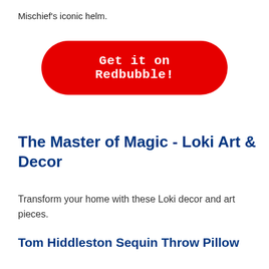Mischief's iconic helm.
Get it on Redbubble!
The Master of Magic - Loki Art & Decor
Transform your home with these Loki decor and art pieces.
Tom Hiddleston Sequin Throw Pillow